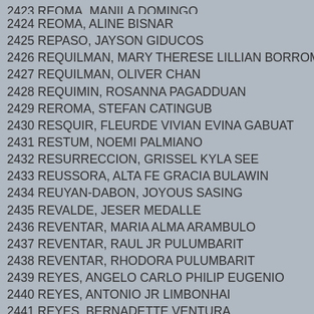2424 REOMA, ALINE BISNAR
2425 REPASO, JAYSON GIDUCOS
2426 REQUILMAN, MARY THERESE LILLIAN BORROMEO
2427 REQUILMAN, OLIVER CHAN
2428 REQUIMIN, ROSANNA PAGADDUAN
2429 REROMA, STEFAN CATINGUB
2430 RESQUIR, FLEURDE VIVIAN EVINA GABUAT
2431 RESTUM, NOEMI PALMIANO
2432 RESURRECCION, GRISSEL KYLA SEE
2433 REUSSORA, ALTA FE GRACIA BULAWIN
2434 REUYAN-DABON, JOYOUS SASING
2435 REVALDE, JESER MEDALLE
2436 REVENTAR, MARIA ALMA ARAMBULO
2437 REVENTAR, RAUL JR PULUMBARIT
2438 REVENTAR, RHODORA PULUMBARIT
2439 REYES, ANGELO CARLO PHILIP EUGENIO
2440 REYES, ANTONIO JR LIMBONHAI
2441 REYES, BERNADETTE VENTURA
2442 REYES, CHRISTINE DY
2443 REYES, DEONNA VICTORIA ARANETA
2444 REYES, FELICITAS OCAMPO
2445 REYES, JEROME ANDRES